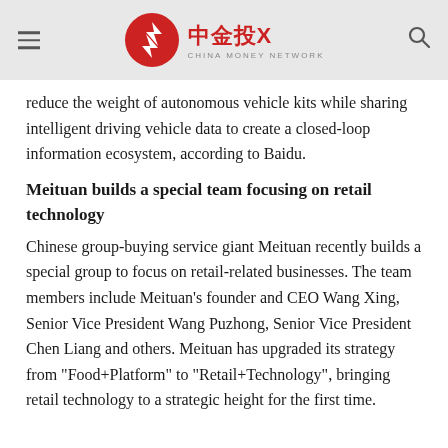China Money Network
reduce the weight of autonomous vehicle kits while sharing intelligent driving vehicle data to create a closed-loop information ecosystem, according to Baidu.
Meituan builds a special team focusing on retail technology
Chinese group-buying service giant Meituan recently builds a special group to focus on retail-related businesses. The team members include Meituan's founder and CEO Wang Xing, Senior Vice President Wang Puzhong, Senior Vice President Chen Liang and others. Meituan has upgraded its strategy from "Food+Platform" to "Retail+Technology", bringing retail technology to a strategic height for the first time.